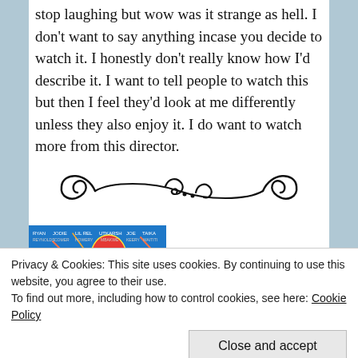stop laughing but wow was it strange as hell. I don't want to say anything incase you decide to watch it. I honestly don't really know how I'd describe it. I want to tell people to watch this but then I feel they'd look at me differently unless they also enjoy it. I do want to watch more from this director.
[Figure (illustration): Decorative ornamental divider with curling flourishes on each side and a small central ornament]
[Figure (photo): Movie poster with actors Ryan Reynolds, Jodie Comer, Lil Rel Howery, Utkarsh Ambari, Joe Keery, Taika Waititi. Shows a hot air balloon, meteors falling, blue sky background.]
Privacy & Cookies: This site uses cookies. By continuing to use this website, you agree to their use. To find out more, including how to control cookies, see here: Cookie Policy
[Figure (photo): Partially visible second movie poster at the bottom of the page, dark blue tones]